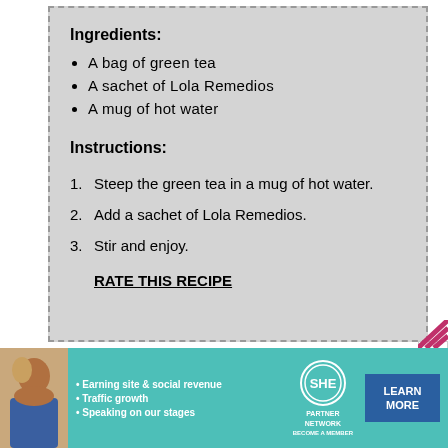Ingredients:
A bag of green tea
A sachet of Lola Remedios
A mug of hot water
Instructions:
1. Steep the green tea in a mug of hot water.
2. Add a sachet of Lola Remedios.
3. Stir and enjoy.
RATE THIS RECIPE
[Figure (photo): Advertisement banner for SHE Partner Network featuring a woman, bullet points about earning site & social revenue, traffic growth, speaking on our stages, and a Learn More button]